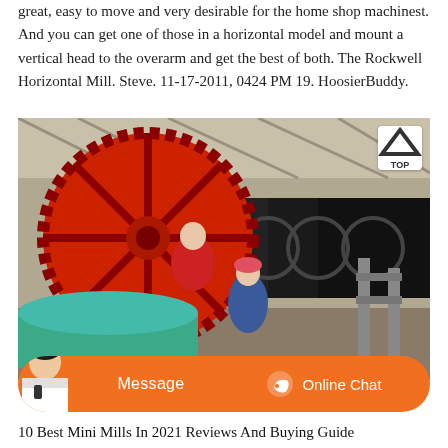great, easy to move and very desirable for the home shop machinest. And you can get one of those in a horizontal model and mount a vertical head to the overarm and get the best of both. The Rockwell Horizontal Mill. Steve. 11-17-2011, 0424 PM 19. HoosierBuddy.
[Figure (photo): Two workers in a large industrial workshop working on a massive horizontal ball mill machine. A large red gear wheel is prominently visible on the left. Workers are wearing hard hats and work clothes. Large cylindrical mill drums are visible in the background.]
10 Best Mini Mills In 2021 Reviews And Buying Guide